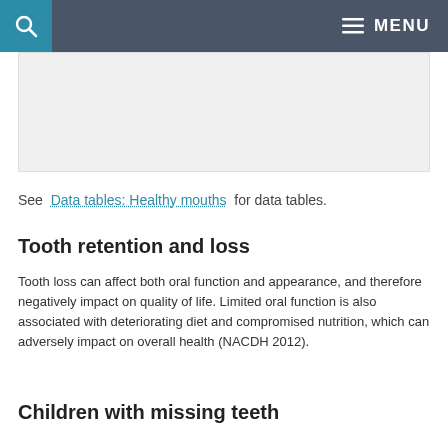MENU
[Figure (photo): Image placeholder area below navigation bar]
See Data tables: Healthy mouths for data tables.
Tooth retention and loss
Tooth loss can affect both oral function and appearance, and therefore negatively impact on quality of life. Limited oral function is also associated with deteriorating diet and compromised nutrition, which can adversely impact on overall health (NACDH 2012).
Children with missing teeth